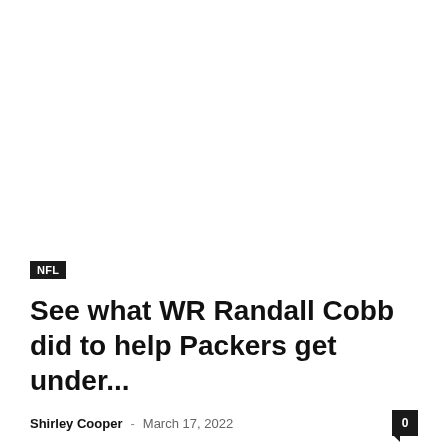NFL
See what WR Randall Cobb did to help Packers get under...
Shirley Cooper - March 17, 2022